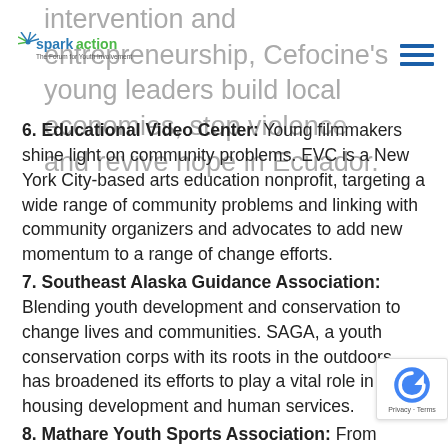[Figure (logo): Spark Action logo with 'The Forum for Youth Investment' tagline]
intervention and entrepreneurship, Cefocine's young leaders build local economies, stop violence and revive hope in Ecuador.
6. Educational Video Center: Young filmmakers shine light on community problems. EVC is a New York City-based arts education nonprofit, targeting a wide range of community problems and linking with community organizers and advocates to add new momentum to a range of change efforts.
7. Southeast Alaska Guidance Association: Blending youth development and conservation to change lives and communities. SAGA, a youth conservation corps with its roots in the outdoors, has broadened its efforts to play a vital role in housing development and human services.
8. Mathare Youth Sports Association: From